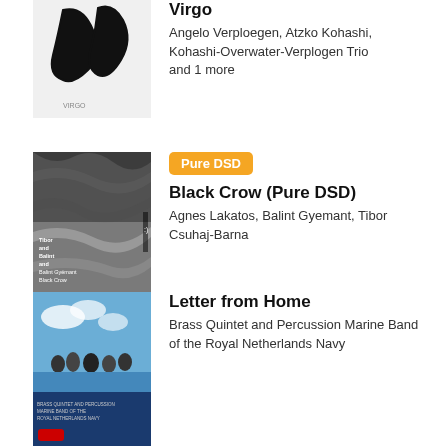[Figure (photo): Album cover for Virgo - black ink brushstroke art with 'VIRGO' text]
Virgo
Angelo Verploegen, Atzko Kohashi, Kohashi-Overwater-Verplogen Trio and 1 more
[Figure (photo): Album cover for Black Crow (Pure DSD) - dark rock/stone texture with text listing artist names]
Pure DSD
Black Crow (Pure DSD)
Agnes Lakatos, Balint Gyemant, Tibor Csuhaj-Barna
[Figure (photo): Album cover for Letter from Home - group of people outdoors with sky, Marine Band branding and Alice logo]
Letter from Home
Brass Quintet and Percussion Marine Band of the Royal Netherlands Navy